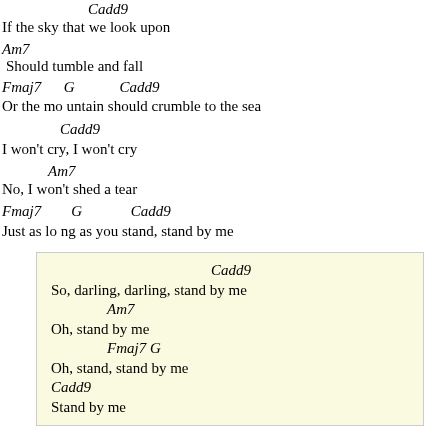Cadd9
If the sky that we look upon
Am7
Should tumble and fall
Fmaj7   G   Cadd9
Or the mountain should crumble to the sea
Cadd9
I won't cry, I won't cry
Am7
No, I won't shed a tear
Fmaj7   G   Cadd9
Just as long as you stand, stand by me
Cadd9
So, darling, darling, stand by me
Am7
Oh, stand by me
Fmaj7 G
Oh, stand,  stand by me
Cadd9
Stand by me